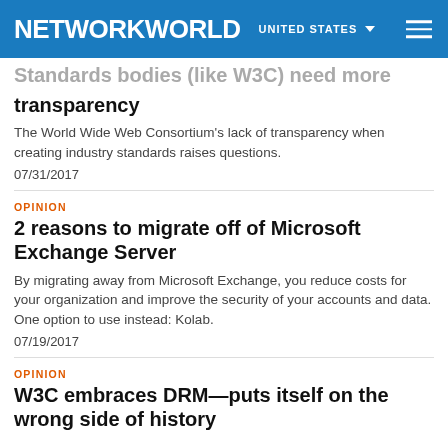NETWORKWORLD UNITED STATES
Standards bodies (like W3C) need more transparency
The World Wide Web Consortium's lack of transparency when creating industry standards raises questions.
07/31/2017
OPINION
2 reasons to migrate off of Microsoft Exchange Server
By migrating away from Microsoft Exchange, you reduce costs for your organization and improve the security of your accounts and data. One option to use instead: Kolab.
07/19/2017
OPINION
W3C embraces DRM—puts itself on the wrong side of history